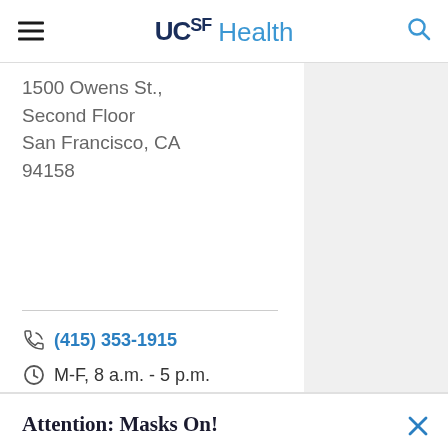UCSF Health
1500 Owens St., Second Floor San Francisco, CA 94158
(415) 353-1915
M-F, 8 a.m. - 5 p.m.
Attention: Masks On!
If you're a patient or visitor in one of our hospitals or clinics, you're required to wear a mask indoors.